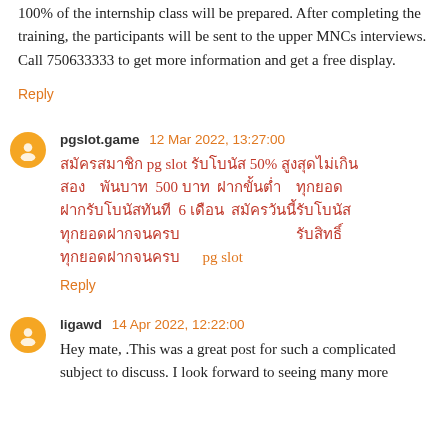100% of the internship class will be prepared. After completing the training, the participants will be sent to the upper MNCs interviews. Call 750633333 to get more information and get a free display.
Reply
pgslot.game 12 Mar 2022, 13:27:00
[Thai text] pg slot [Thai text] 50% [Thai text] [Thai text] 500 [Thai text] [Thai text] 6 [Thai text] [Thai text] [Thai text] pg slot
Reply
ligawd 14 Apr 2022, 12:22:00
Hey mate, .This was a great post for such a complicated subject to discuss. I look forward to seeing many more